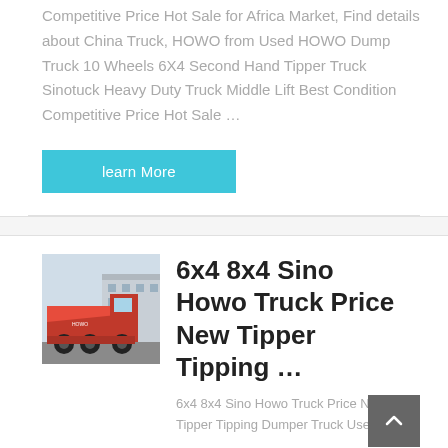Competitive Price Hot Sale for Africa Market, Find details about China Truck, HOWO from Used HOWO Dump Truck 10 Wheels 6X4 Second Hand Tipper Truck Sinotuck Heavy Duty Truck Middle Lift Best Condition Competitive Price Hot Sale …
learn More
[Figure (photo): Red dump truck (tipper) parked in front of a warehouse/industrial building]
6x4 8x4 Sino Howo Truck Price New Tipper Tipping …
6x4 8x4 Sino Howo Truck Price New Tipper Tipping Dumper Truck Used …